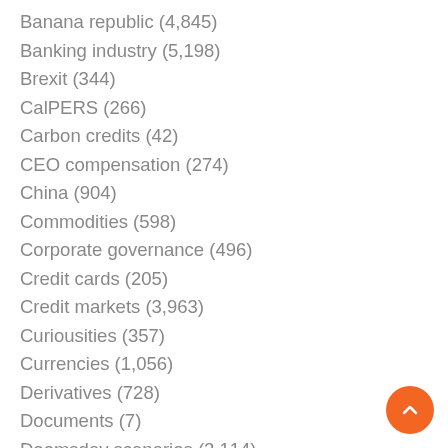Banana republic (4,845)
Banking industry (5,198)
Brexit (344)
CalPERS (266)
Carbon credits (42)
CEO compensation (274)
China (904)
Commodities (598)
Corporate governance (496)
Credit cards (205)
Credit markets (3,963)
Curiousities (357)
Currencies (1,056)
Derivatives (728)
Documents (7)
Doomsday scenarios (3,114)
Dubious statistics (1,200)